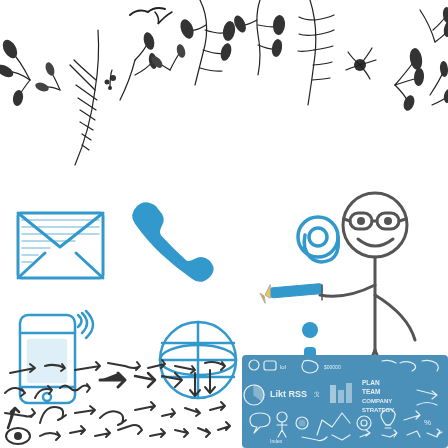[Figure (illustration): Decorative hand-drawn botanical elements including leaves, branches, feathers, and floral sprigs arranged across the top of the page in black ink sketch style]
[Figure (illustration): Hand-drawn doodle style contact/communication icons in blue: open envelope, telephone receiver, @ symbol with a stick figure person holding a pencil pointing at it, smartphone with signal waves, globe/earth, and information 'i' symbol. The stick figure has glasses, a smiling face, and is drawn in dark gray sketch style.]
[Figure (illustration): Collection of hand-drawn doodle arrows in various styles and directions, black on white, lower left quadrant]
[Figure (illustration): Blue rectangular panel with white chalk-style doodle illustrations including social media icons, RSS, 'Like', 'lol', business strategy text (Plan, Team, Company, Strategy), charts, graphs, people, speech bubbles, and various web/tech icons]